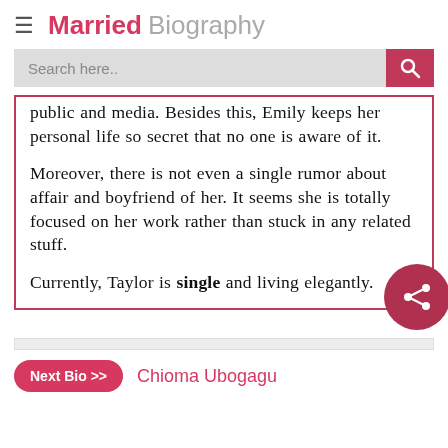Married Biography
public and media. Besides this, Emily keeps her personal life so secret that no one is aware of it.

Moreover, there is not even a single rumor about affair and boyfriend of her. It seems she is totally focused on her work rather than stuck in any related stuff.

Currently, Taylor is single and living elegantly.
Next Bio >> Chioma Ubogagu